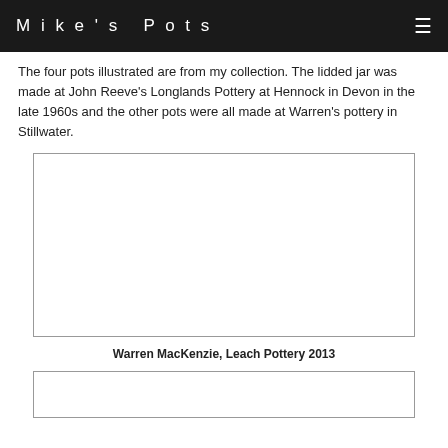Mike's Pots
The four pots illustrated are from my collection. The lidded jar was made at John Reeve's Longlands Pottery at Hennock in Devon in the late 1960s and the other pots were all made at Warren's pottery in Stillwater.
[Figure (photo): Large rectangular image placeholder (white box with grey border) showing a photograph of a pot]
Warren MacKenzie, Leach Pottery 2013
[Figure (photo): Second rectangular image placeholder (white box with grey border) showing another pot]